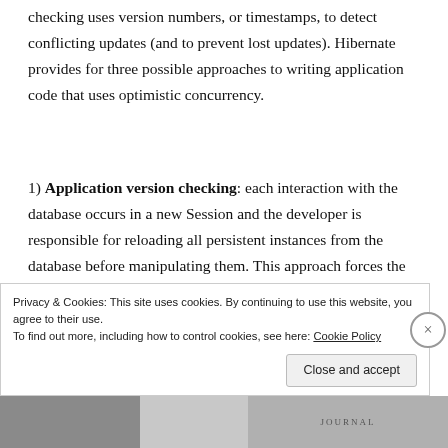checking uses version numbers, or timestamps, to detect conflicting updates (and to prevent lost updates). Hibernate provides for three possible approaches to writing application code that uses optimistic concurrency.
1) Application version checking: each interaction with the database occurs in a new Session and the developer is responsible for reloading all persistent instances from the database before manipulating them. This approach forces the application to carry out its own version checking to ensure conversation transaction isolation.
Privacy & Cookies: This site uses cookies. By continuing to use this website, you agree to their use. To find out more, including how to control cookies, see here: Cookie Policy
Close and accept